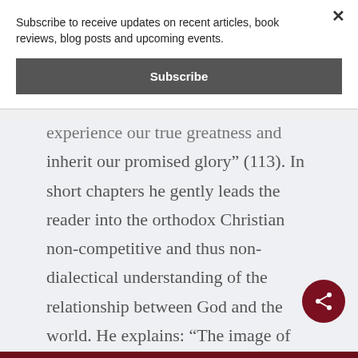Subscribe to receive updates on recent articles, book reviews, blog posts and upcoming events.
Subscribe
experience our true greatness and inherit our promised glory” (113). In short chapters he gently leads the reader into the orthodox Christian non-competitive and thus non-dialectical understanding of the relationship between God and the world. He explains: “The image of God revealed in Jesus Christ differs